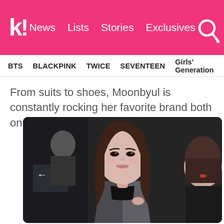k! News Lists Stories Exclusives
BTS BLACKPINK TWICE SEVENTEEN Girls' Generation
From suits to shoes, Moonbyul is constantly rocking her favorite brand both on and off stage, Thom Browne.
[Figure (photo): Moonbyul (from MAMAMOO) walking through what appears to be an airport, wearing a grey tweed blazer over a black turtleneck, with long straight brown hair. Another woman in black is partially visible on the right side.]